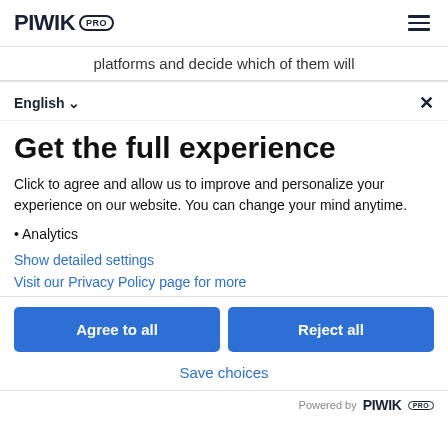PIWIK PRO
platforms and decide which of them will
English ✓
Get the full experience
Click to agree and allow us to improve and personalize your experience on our website. You can change your mind anytime.
• Analytics
Show detailed settings
Visit our Privacy Policy page for more
Agree to all
Reject all
Save choices
Powered by PIWIK PRO